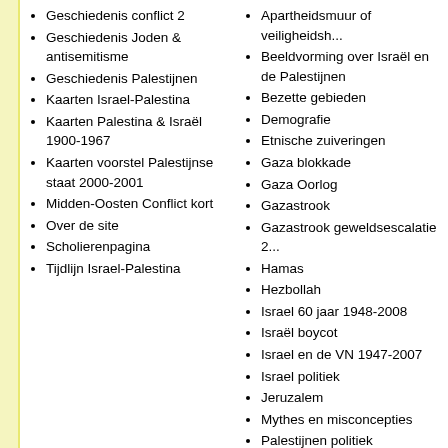Geschiedenis conflict 2
Geschiedenis Joden & antisemitisme
Geschiedenis Palestijnen
Kaarten Israel-Palestina
Kaarten Palestina & Israël 1900-1967
Kaarten voorstel Palestijnse staat 2000-2001
Midden-Oosten Conflict kort
Over de site
Scholierenpagina
Tijdlijn Israel-Palestina
Apartheidsmuur of veiligheidsh...
Beeldvorming over Israël en de Palestijnen
Bezette gebieden
Demografie
Etnische zuiveringen
Gaza blokkade
Gaza Oorlog
Gazastrook
Gazastrook geweldsescalatie 2...
Hamas
Hezbollah
Israel 60 jaar 1948-2008
Israël boycot
Israel en de VN 1947-2007
Israel politiek
Jeruzalem
Mythes en misconcepties
Palestijnen politiek
Palestijnse Gevangenendocum...
Verenigde Naties
Vluchtelingen
Vrede & verzoening
Zesdaagse Oorlog
Zionisme